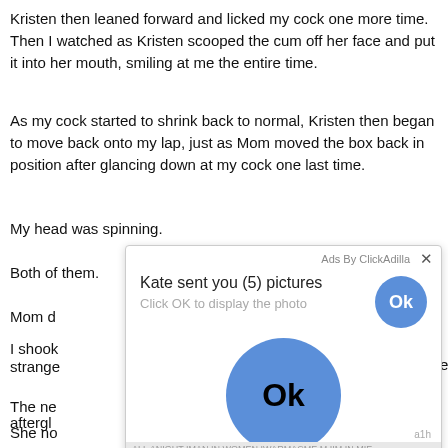Kristen then leaned forward and licked my cock one more time. Then I watched as Kristen scooped the cum off her face and put it into her mouth, smiling at me the entire time.
As my cock started to shrink back to normal, Kristen then began to move back onto my lap, just as Mom moved the box back in position after glancing down at my cock one last time.
My head was spinning.
Both of them.
Mom d[obscured by ad]
I shook[obscured by ad]en strange[obscured]
The ne[obscured]the aftergl[obscured]
Dad an[obscured]
I leane[obscured]
She no[obscured]on my
[Figure (screenshot): Ad overlay from ClickAdilla: 'Kate sent you (5) pictures - Click OK to display the photo' with a blue Ok button and a large blue Ok circle button in the center of the overlay.]